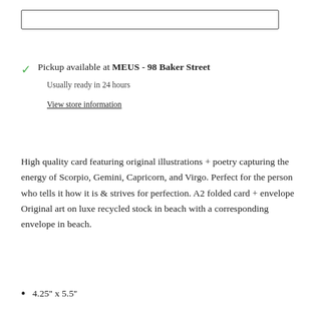[Figure (other): Empty rectangular input box at top of page]
Pickup available at MEUS - 98 Baker Street
Usually ready in 24 hours
View store information
High quality card featuring original illustrations + poetry capturing the energy of Scorpio, Gemini, Capricorn, and Virgo. Perfect for the person who tells it how it is & strives for perfection. A2 folded card + envelope Original art on luxe recycled stock in beach with a corresponding envelope in beach.
4.25'' x 5.5''